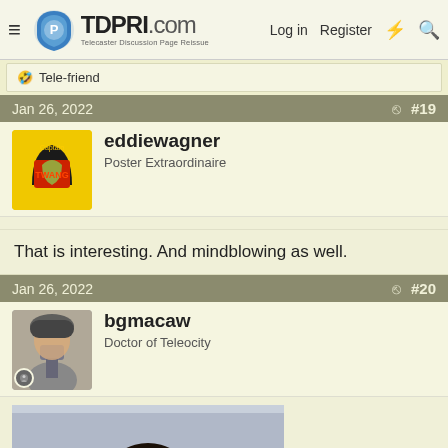TDPRI.com — Telecaster Discussion Page Reissue | Log in | Register
🤣 Tele-friend
Jan 26, 2022  #19
eddiewagner
Poster Extraordinaire
That is interesting. And mindblowing as well.
Jan 26, 2022  #20
bgmacaw
Doctor of Teleocity
[Figure (photo): Photo of a man with long curly dark hair and a mustache, raising one finger, in a TV studio setting]